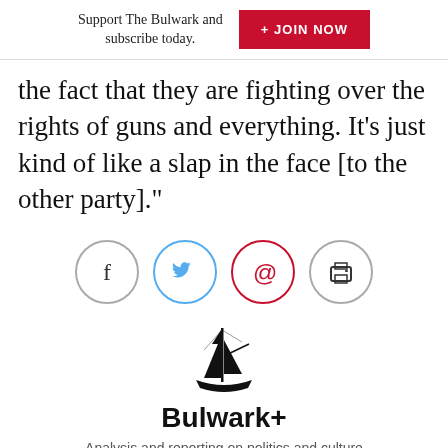Support The Bulwark and subscribe today.  + JOIN NOW
the fact that they are fighting over the rights of guns and everything. It’s just kind of like a slap in the face [to the other party].”
[Figure (other): Social sharing icons: Facebook (circle, grey border), Twitter (circle, blue border), Email/at-sign (circle, red border), Print (circle, grey border)]
[Figure (logo): Bulwark sailing ship logo icon in black]
Bulwark+
Analysis and reporting on politics and culture in America. No partisan loyalties. No tribal prejudices.